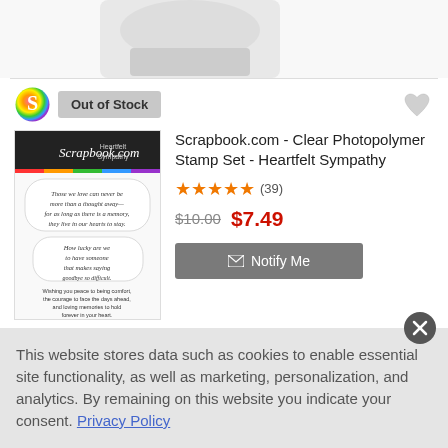[Figure (photo): Partial product image of a stamp or similar product at top of page]
Out of Stock
[Figure (photo): Scrapbook.com Clear Photopolymer Stamp Set - Heartfelt Sympathy product image showing stamp set with sympathy sentiments]
Scrapbook.com - Clear Photopolymer Stamp Set - Heartfelt Sympathy
★★★★★ (39)
$10.00  $7.49
✉ Notify Me
This website stores data such as cookies to enable essential site functionality, as well as marketing, personalization, and analytics. By remaining on this website you indicate your consent. Privacy Policy